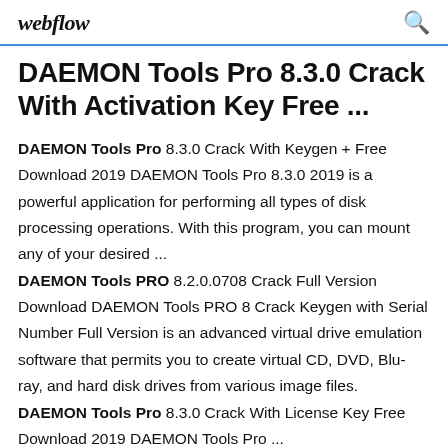webflow
DAEMON Tools Pro 8.3.0 Crack With Activation Key Free ...
DAEMON Tools Pro 8.3.0 Crack With Keygen + Free Download 2019 DAEMON Tools Pro 8.3.0 2019 is a powerful application for performing all types of disk processing operations. With this program, you can mount any of your desired ... DAEMON Tools PRO 8.2.0.0708 Crack Full Version Download DAEMON Tools PRO 8 Crack Keygen with Serial Number Full Version is an advanced virtual drive emulation software that permits you to create virtual CD, DVD, Blu-ray, and hard disk drives from various image files. DAEMON Tools Pro 8.3.0 Crack With License Key Free Download 2019 DAEMON Tools Pro ...